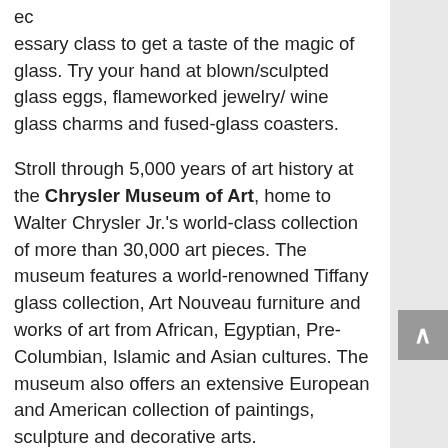ec essary class to get a taste of the magic of glass. Try your hand at blown/sculpted glass eggs, flameworked jewelry/ wine glass charms and fused-glass coasters.
Stroll through 5,000 years of art history at the Chrysler Museum of Art, home to Walter Chrysler Jr.'s world-class collection of more than 30,000 art pieces. The museum features a world-renowned Tiffany glass collection, Art Nouveau furniture and works of art from African, Egyptian, Pre-Columbian, Islamic and Asian cultures. The museum also offers an extensive European and American collection of paintings, sculpture and decorative arts.
Sip over 50 wines from around the world at Press 626 Cafe and Wine Bar. The menu will please all taste buds using only ingredients from local farms for the freshest tastes!